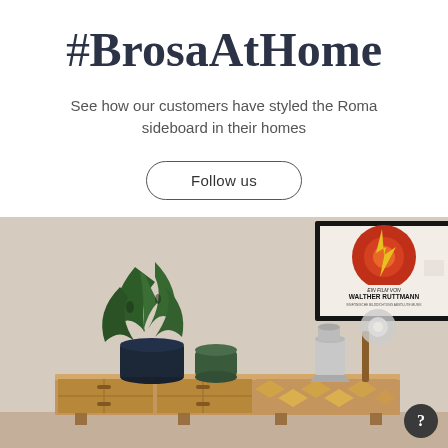#BrosaAtHome
See how our customers have styled the Roma sideboard in their homes
Follow us
[Figure (photo): A room interior showing a wooden sideboard (Roma sideboard) with potted plants on the left side and decorative metal items on the right. Above the sideboard hangs a framed vintage movie poster reading 'EIN FILM VON WALTHER RUTTMANN'. The wall is a neutral beige/cream colour.]